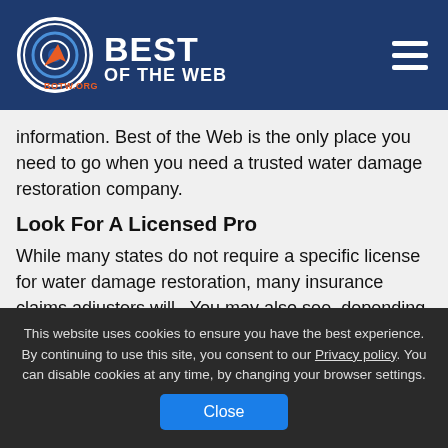BEST OF THE WEB — botw.org
information. Best of the Web is the only place you need to go when you need a trusted water damage restoration company.
Look For A Licensed Pro
While many states do not require a specific license for water damage restoration, many insurance claims adjusters will.  You may also see, depending on the work required, some states can require a contractor's
This website uses cookies to ensure you have the best experience. By continuing to use this site, you consent to our Privacy policy. You can disable cookies at any time, by changing your browser settings.
Close